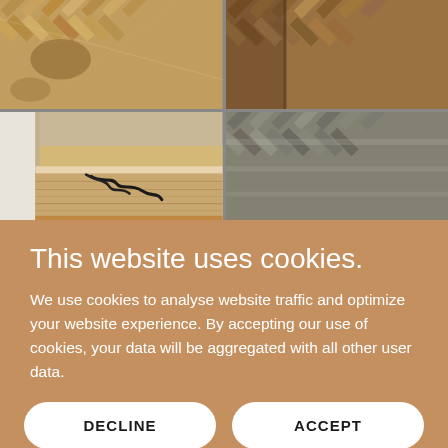[Figure (photo): Four-panel photo grid showing parquet wood flooring in various stages — top-left: worn light oak herringbone parquet; top-right: darker herringbone parquet flooring viewed from corner; bottom-left: room corner with cables on worn parquet floor; bottom-right: grey/weathered herringbone parquet flooring.]
This website uses cookies.
We use cookies to analyse website traffic and optimize your website experience. By accepting our use of cookies, your data will be aggregated with all other user data.
DECLINE
ACCEPT